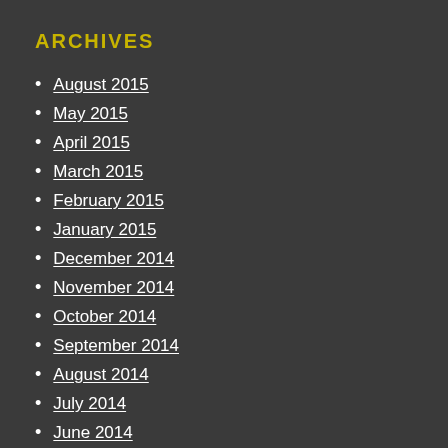ARCHIVES
August 2015
May 2015
April 2015
March 2015
February 2015
January 2015
December 2014
November 2014
October 2014
September 2014
August 2014
July 2014
June 2014
May 2014
April 2014
March 2014
February 2014
January 2014